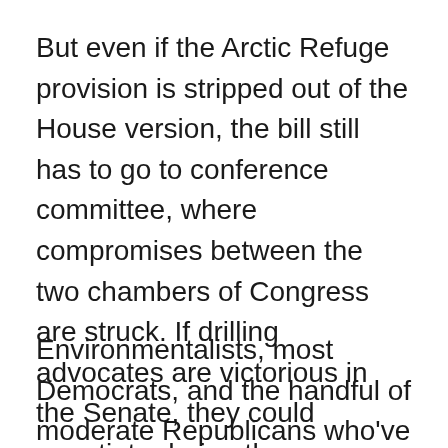But even if the Arctic Refuge provision is stripped out of the House version, the bill still has to go to conference committee, where compromises between the two chambers of Congress are struck. If drilling advocates are victorious in the Senate, they could negotiate during these deliberations to slip the provision back in.
Environmentalists, most Democrats, and the handful of moderate Republicans who've been fighting for decades to protect the Arctic National Wildlife